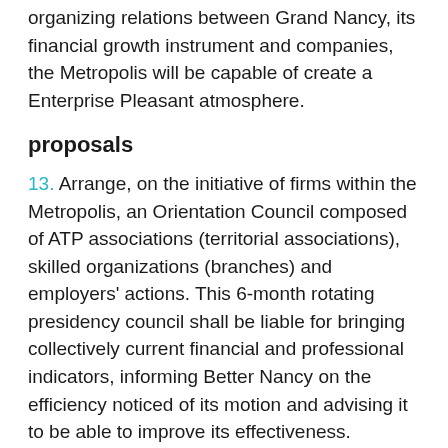organizing relations between Grand Nancy, its financial growth instrument and companies, the Metropolis will be capable of create a Enterprise Pleasant atmosphere.
proposals
13. Arrange, on the initiative of firms within the Metropolis, an Orientation Council composed of ATP associations (territorial associations), skilled organizations (branches) and employers' actions. This 6-month rotating presidency council shall be liable for bringing collectively current financial and professional indicators, informing Better Nancy on the efficiency noticed of its motion and advising it to be able to improve its effectiveness. Construction impartial of any public establishment, supported by and associate of Better Nancy, will arrange, in collaboration with all of the skilled organizations current within the metropolis, an actual month-to-month barometer of the